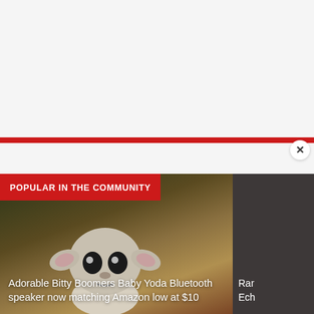[Figure (screenshot): Advertisement placeholder area with light gray background and red top bar, with a close (X) button]
POPULAR IN THE COMMUNITY
[Figure (photo): Baby Yoda (Bitty Boomers Bluetooth speaker) figurine on a red surface with blurred background]
Adorable Bitty Boomers Baby Yoda Bluetooth speaker now matching Amazon low at $10
[Figure (photo): Dark gray card partially visible on the right side with text starting Rar... Ech...]